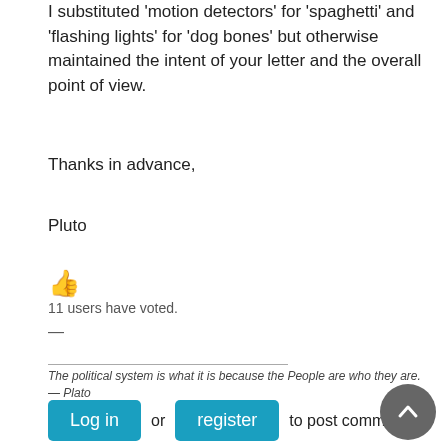I substituted 'motion detectors' for 'spaghetti' and 'flashing lights' for 'dog bones' but otherwise maintained the intent of your letter and the overall point of view.
Thanks in advance,
Pluto
👍
11 users have voted.
—
The political system is what it is because the People are who they are. — Plato
Log in or register to post comments